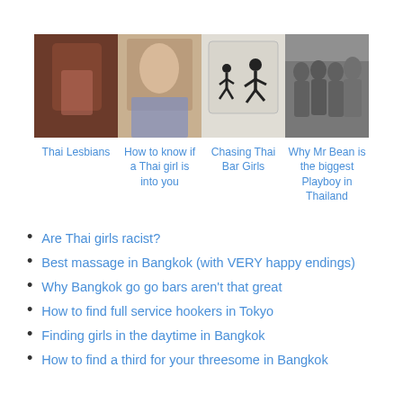[Figure (photo): Four thumbnail images in a row: two photos of women, a pictogram sign showing running figures, and a group photo of people.]
Thai Lesbians
How to know if a Thai girl is into you
Chasing Thai Bar Girls
Why Mr Bean is the biggest Playboy in Thailand
Are Thai girls racist?
Best massage in Bangkok (with VERY happy endings)
Why Bangkok go go bars aren't that great
How to find full service hookers in Tokyo
Finding girls in the daytime in Bangkok
How to find a third for your threesome in Bangkok